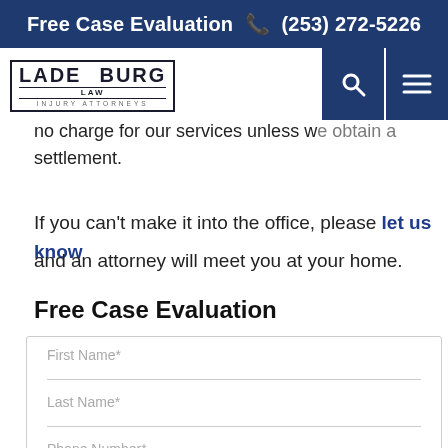Free Case Evaluation ☎ (253) 272-5226
[Figure (logo): Ladenburg Law Injury Attorneys logo with border box]
no charge for our services unless we obtain a settlement.
If you can’t make it into the office, please let us know and an attorney will meet you at your home.
Free Case Evaluation
First Name*
Last Name*
Phone Number*